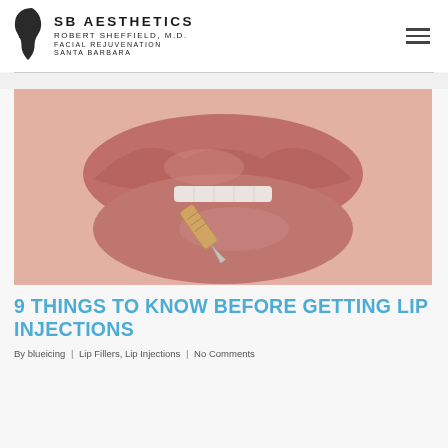SB AESTHETICS ROBERT SHEFFIELD, M.D. FACIAL REJUVENATION SANTA BARBARA
[Figure (photo): Close-up photograph of lips with a needle/syringe being inserted, representing lip injection procedure]
9 THINGS TO KNOW BEFORE GETTING LIP INJECTIONS
By blueicing | Lip Fillers, Lip Injections | No Comments